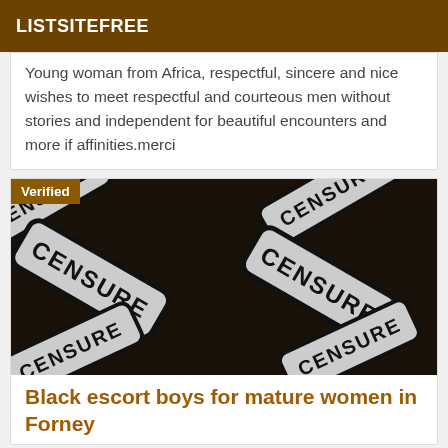LISTSITEFREE
Young woman from Africa, respectful, sincere and nice wishes to meet respectful and courteous men without stories and independent for beautiful encounters and more if affinities.merci
[Figure (photo): Censored image with multiple 'CENSURE' label stamps overlapping on a dark background, with a 'Verified' badge in the upper left corner.]
Black escort boys for mature women in Forney